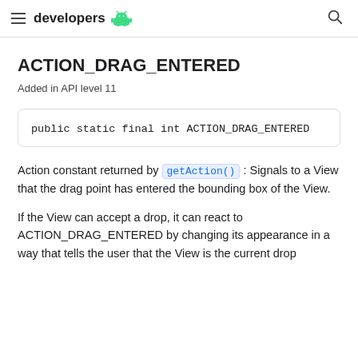developers [Android logo]
ACTION_DRAG_ENTERED
Added in API level 11
public static final int ACTION_DRAG_ENTERED
Action constant returned by getAction(): Signals to a View that the drag point has entered the bounding box of the View.
If the View can accept a drop, it can react to ACTION_DRAG_ENTERED by changing its appearance in a way that tells the user that the View is the current drop